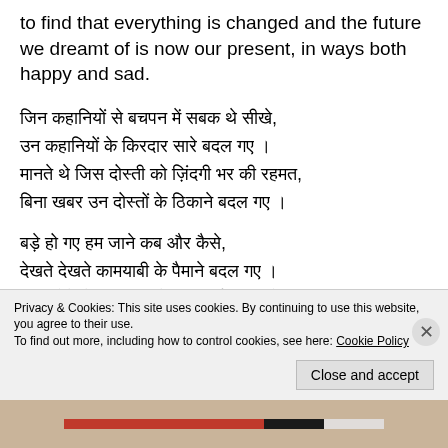to find that everything is changed and the future we dreamt of is now our present, in ways both happy and sad.
जिन कहानियों से बचपन में सबक थे सीखे,
उन कहानियों के किरदार सारे बदल गए ।
मानते थे जिस दोस्ती को ज़िंदगी भर की रहमत,
बिना खबर उन दोस्तों के ठिकाने बदल गए ।
बड़े हो गए हम जाने कब और कैसे,
देखते देखते कामयाबी के पैमाने बदल गए ।
कभी होते थे खुश उड़ा के लूटी हुई पतंग को,
Privacy & Cookies: This site uses cookies. By continuing to use this website, you agree to their use.
To find out more, including how to control cookies, see here: Cookie Policy